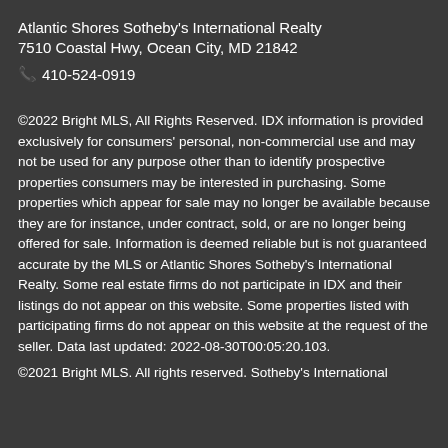Atlantic Shores Sotheby's International Realty
7510 Coastal Hwy, Ocean City, MD 21842
📞 410-524-0919
©2022 Bright MLS, All Rights Reserved. IDX information is provided exclusively for consumers' personal, non-commercial use and may not be used for any purpose other than to identify prospective properties consumers may be interested in purchasing. Some properties which appear for sale may no longer be available because they are for instance, under contract, sold, or are no longer being offered for sale. Information is deemed reliable but is not guaranteed accurate by the MLS or Atlantic Shores Sotheby's International Realty. Some real estate firms do not participate in IDX and their listings do not appear on this website. Some properties listed with participating firms do not appear on this website at the request of the seller. Data last updated: 2022-08-30T00:05:20.103.
©2021 Bright MLS. All rights reserved. Sotheby's International